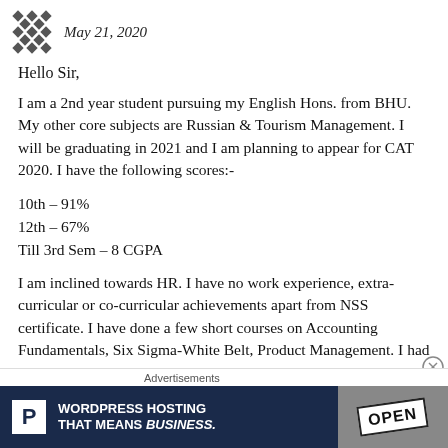May 21, 2020
Hello Sir,
I am a 2nd year student pursuing my English Hons. from BHU. My other core subjects are Russian & Tourism Management. I will be graduating in 2021 and I am planning to appear for CAT 2020. I have the following scores:-
10th – 91%
12th – 67%
Till 3rd Sem – 8 CGPA
I am inclined towards HR. I have no work experience, extra-curricular or co-curricular achievements apart from NSS certificate. I have done a few short courses on Accounting Fundamentals, Six Sigma-White Belt, Product Management. I had just started my CAT preparation when this lockdown
[Figure (other): Advertisement banner: WordPress Hosting That Means Business with P logo and OPEN sign photo]